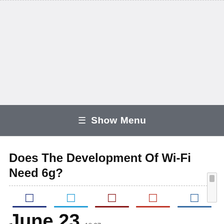[Figure (other): Light gray top area, placeholder/advertisement region with dashed top border]
☰ Show Menu
Does The Development Of Wi-Fi Need 6g?
[Figure (other): Row of five social sharing icon buttons with colored underline bars: navy, light blue, dark red, red, steel blue]
June 23  18:37 2022